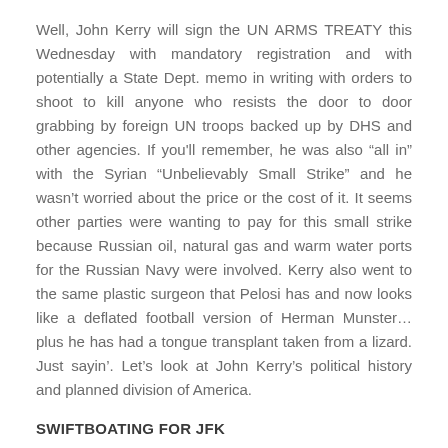Well, John Kerry will sign the UN ARMS TREATY this Wednesday with mandatory registration and with potentially a State Dept. memo in writing with orders to shoot to kill anyone who resists the door to door grabbing by foreign UN troops backed up by DHS and other agencies. If you'll remember, he was also “all in” with the Syrian “Unbelievably Small Strike” and he wasn’t worried about the price or the cost of it. It seems other parties were wanting to pay for this small strike because Russian oil, natural gas and warm water ports for the Russian Navy were involved. Kerry also went to the same plastic surgeon that Pelosi has and now looks like a deflated football version of Herman Munster… plus he has had a tongue transplant taken from a lizard. Just sayin’. Let’s look at John Kerry’s political history and planned division of America.
SWIFTBOATING FOR JFK
The first time I heard of John Kerry was when he ran for president and this is where I learned of his treasonous history during the Vietnam War. John Kerry was in the Navy, but was